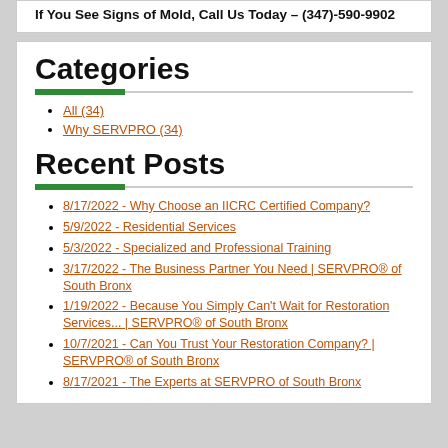If You See Signs of Mold, Call Us Today – (347)-590-9902
Categories
All (34)
Why SERVPRO (34)
Recent Posts
8/17/2022 - Why Choose an IICRC Certified Company?
5/9/2022 - Residential Services
5/3/2022 - Specialized and Professional Training
3/17/2022 - The Business Partner You Need | SERVPRO® of South Bronx
1/19/2022 - Because You Simply Can't Wait for Restoration Services... | SERVPRO® of South Bronx
10/7/2021 - Can You Trust Your Restoration Company? | SERVPRO® of South Bronx
8/17/2021 - The Experts at SERVPRO of South Bronx